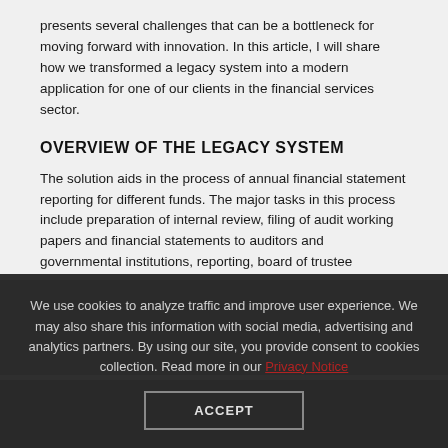presents several challenges that can be a bottleneck for moving forward with innovation. In this article, I will share how we transformed a legacy system into a modern application for one of our clients in the financial services sector.
OVERVIEW OF THE LEGACY SYSTEM
The solution aids in the process of annual financial statement reporting for different funds. The major tasks in this process include preparation of internal review, filing of audit working papers and financial statements to auditors and governmental institutions, reporting, board of trustee
We use cookies to analyze traffic and improve user experience. We may also share this information with social media, advertising and analytics partners. By using our site, you provide consent to cookies collection. Read more in our Privacy Notice